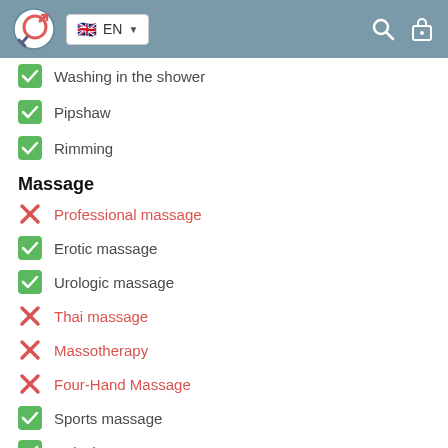EN
Washing in the shower
Pipshaw
Rimming
Massage
Professional massage
Erotic massage
Urologic massage
Thai massage
Massotherapy
Four-Hand Massage
Sports massage
Relaxing massage
Sakura Branch
Striptease
Striptease